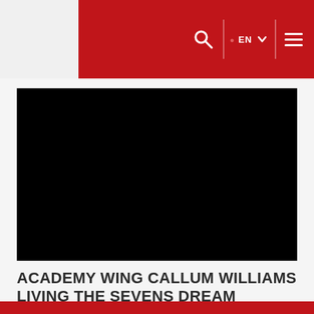EN
[Figure (photo): Large black hero image, appears to be a video or photo of a rugby/sports scene, rendered as a dark/black rectangle]
ACADEMY WING CALLUM WILLIAMS LIVING THE SEVENS DREAM